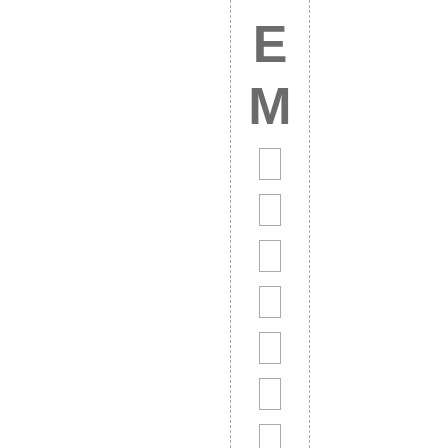E
M
[Figure (other): A vertical column of small outlined rectangles (checkbox-like squares), 10 in total, evenly spaced vertically within a dashed-border column region.]